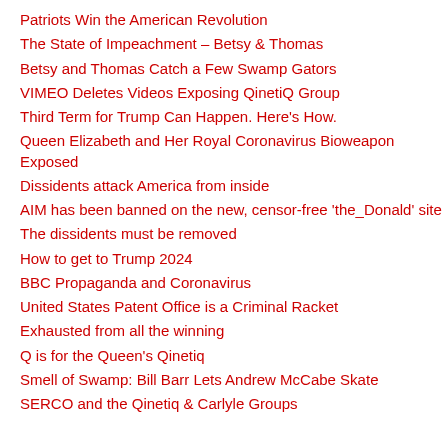Patriots Win the American Revolution
The State of Impeachment – Betsy & Thomas
Betsy and Thomas Catch a Few Swamp Gators
VIMEO Deletes Videos Exposing QinetiQ Group
Third Term for Trump Can Happen. Here's How.
Queen Elizabeth and Her Royal Coronavirus Bioweapon Exposed
Dissidents attack America from inside
AIM has been banned on the new, censor-free 'the_Donald' site
The dissidents must be removed
How to get to Trump 2024
BBC Propaganda and Coronavirus
United States Patent Office is a Criminal Racket
Exhausted from all the winning
Q is for the Queen's Qinetiq
Smell of Swamp: Bill Barr Lets Andrew McCabe Skate
SERCO and the Qinetiq & Carlyle Groups